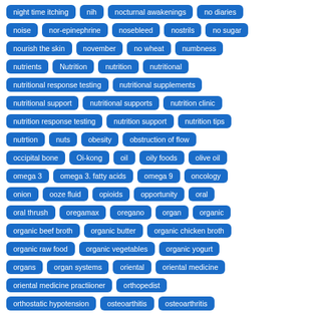[Figure (other): Tag cloud of medical/nutrition keywords displayed as blue rounded rectangle badges, arranged in rows. Tags include: night time itching, nih, nocturnal awakenings, no diaries, noise, nor-epinephrine, nosebleed, nostrils, no sugar, nourish the skin, november, no wheat, numbness, nutrients, Nutrition, nutrition, nutritional, nutritional response testing, nutritional supplements, nutritional support, nutritional supports, nutrition clinic, nutrition response testing, nutrition support, nutrition tips, nutrtion, nuts, obesity, obstruction of flow, occipital bone, Oi-kong, oil, oily foods, olive oil, omega 3, omega 3. fatty acids, omega 9, oncology, onion, ooze fluid, opioids, opportunity, oral, oral thrush, oregamax, oregano, organ, organic, organic beef broth, organic butter, organic chicken broth, organic raw food, organic vegetables, organic yogurt, organs, organ systems, oriental, oriental medicine, oriental medicine practiioner, orthopedist, orthostatic hypotension, osteoarthitis, osteoarthritis]